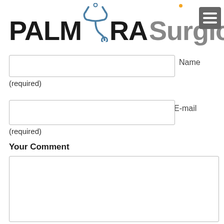[Figure (logo): Palmyra Surgical LLC logo with stethoscope icon and hamburger menu]
Name
(required)
E-mail
(required)
Your Comment